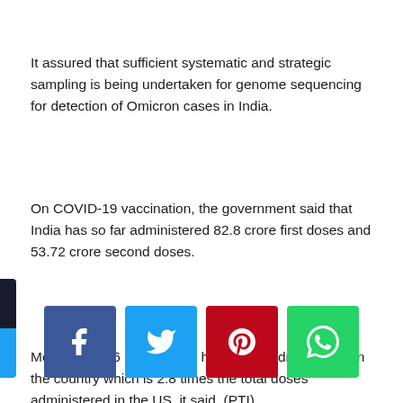It assured that sufficient systematic and strategic sampling is being undertaken for genome sequencing for detection of Omicron cases in India.
On COVID-19 vaccination, the government said that India has so far administered 82.8 crore first doses and 53.72 crore second doses.
More than 136 crore doses have been administered in the country which is 2.8 times the total doses administered in the US, it said. (PTI)
[Figure (infographic): Social media sharing buttons: Facebook (blue), Twitter (cyan), Pinterest (red), WhatsApp (green)]